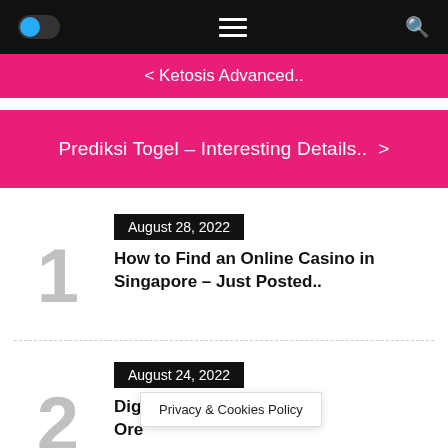Navigation bar with toggle, hamburger menu, and search icon
< Ketosis Advanced..
Prediksi Togel – Interesting Details.. >
1 | August 28, 2022 | How to Find an Online Casino in Singapore – Just Posted..
2 | August 24, 2022 | Digit... Bend Ore...
Privacy & Cookies Policy